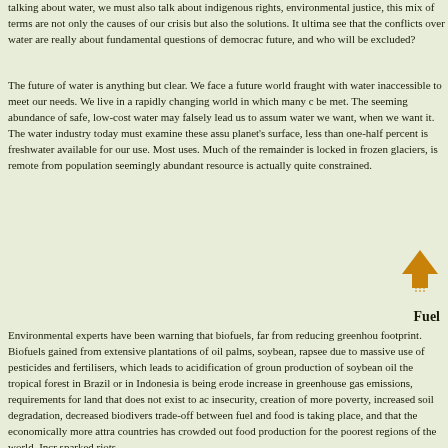talking about water, we must also talk about indigenous rights, environmental justice, this mix of terms are not only the causes of our crisis but also the solutions. It ultimately see that the conflicts over water are really about fundamental questions of democracy: future, and who will be excluded?
The future of water is anything but clear. We face a future world fraught with water inaccessible to meet our needs. We live in a rapidly changing world in which many demands be met. The seeming abundance of safe, low-cost water may falsely lead us to assume water we want, when we want it. The water industry today must examine these assumptions. Of the planet's surface, less than one-half percent is freshwater available for our use. Most of our uses. Much of the remainder is locked in frozen glaciers, is remote from population centers. seemingly abundant resource is actually quite constrained.
[Figure (illustration): An orange upward-pointing arrow icon]
Fuel
Environmental experts have been warning that biofuels, far from reducing greenhouse footprint. Biofuels gained from extensive plantations of oil palms, soybean, rapeseed due to massive use of pesticides and fertilisers, which leads to acidification of ground production of soybean oil the tropical forest in Brazil or in Indonesia is being eroded increase in greenhouse gas emissions, requirements for land that does not exist to accommodate insecurity, creation of more poverty, increased soil degradation, decreased biodiversity, trade-off between fuel and food is taking place, and that the economically more attractive countries has crowded out food production for the poorest regions of the world. Increasing sparked riots.